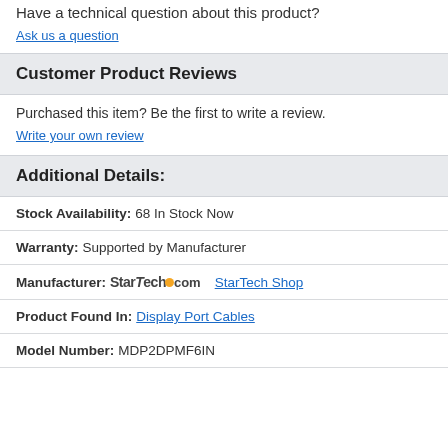Have a technical question about this product?
Ask us a question
Customer Product Reviews
Purchased this item? Be the first to write a review.
Write your own review
Additional Details:
Stock Availability: 68 In Stock Now
Warranty: Supported by Manufacturer
Manufacturer: StarTech.com  StarTech Shop
Product Found In: Display Port Cables
Model Number: MDP2DPMF6IN